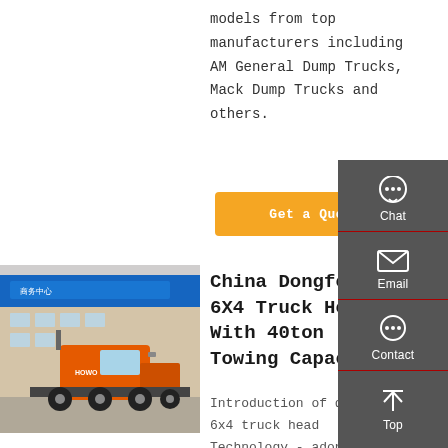models from top manufacturers including AM General Dump Trucks, Mack Dump Trucks and others.
Get a Quote
[Figure (photo): Orange Dongfeng 6x4 truck head parked in front of a commercial building with Chinese signage, outdoor lot setting.]
China Dongfeng 6X4 Truck Head With 40ton Towing Capacity
Introduction of dongfeng 6x4 truck head Technology - adopting
[Figure (infographic): Right sidebar with dark gray background containing Chat, Email, Contact, and Top navigation icons and labels.]